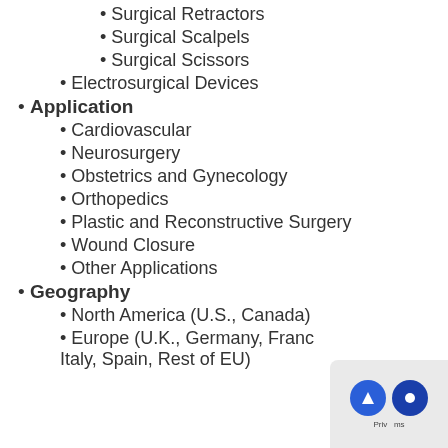Surgical Retractors
Surgical Scalpels
Surgical Scissors
Electrosurgical Devices
Application
Cardiovascular
Neurosurgery
Obstetrics and Gynecology
Orthopedics
Plastic and Reconstructive Surgery
Wound Closure
Other Applications
Geography
North America (U.S., Canada)
Europe (U.K., Germany, France, Italy, Spain, Rest of EU)